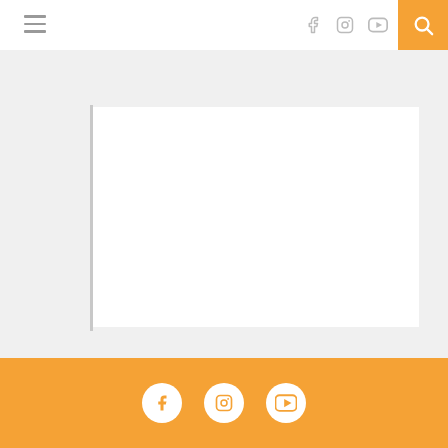[Figure (screenshot): Website header navigation bar with hamburger menu icon on the left, social media icons (Facebook, Instagram, YouTube) in gray on the right, and an orange search button with magnifying glass icon at the far right]
[Figure (screenshot): Main content area with light gray background containing a white rectangular content card with a left vertical border accent line]
Footer with orange background containing three circular white social media icons: Facebook, Instagram, YouTube